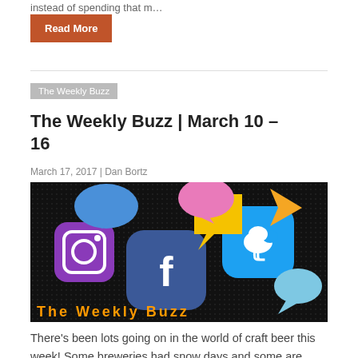instead of spending that m…
Read More
The Weekly Buzz
The Weekly Buzz | March 10 – 16
March 17, 2017 | Dan Bortz
[Figure (photo): Social media apps on a smartphone screen with colorful speech bubble icons and 'The Weekly Buzz' text overlay]
There's been lots going on in the world of craft beer this week! Some breweries had snow days and some are shutting down for a bit longer. There are also a few new beers